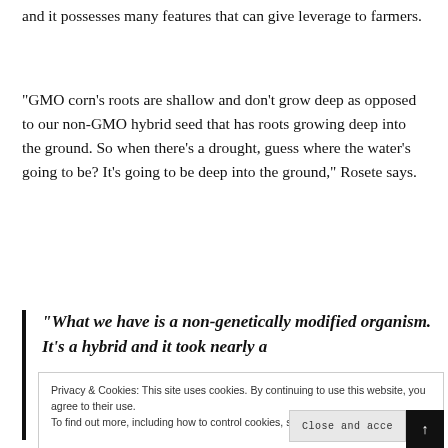and it possesses many features that can give leverage to farmers.
“GMO corn’s roots are shallow and don’t grow deep as opposed to our non-GMO hybrid seed that has roots growing deep into the ground. So when there’s a drought, guess where the water’s going to be? It’s going to be deep into the ground,” Rosete says.
“What we have is a non-genetically modified organism. It’s a hybrid and it took nearly a
Privacy & Cookies: This site uses cookies. By continuing to use this website, you agree to their use.
To find out more, including how to control cookies, see here: Privacy Policy
Close and acce